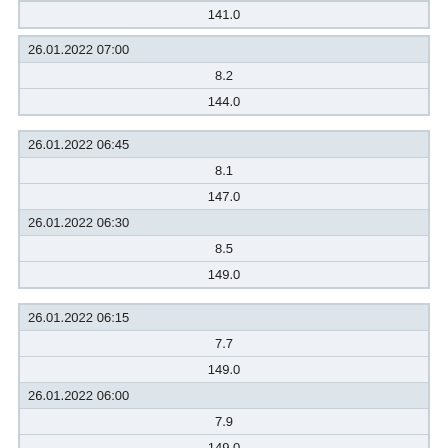| 141.0 |
| 26.01.2022 07:00 |
| 8.2 |
| 144.0 |
| 26.01.2022 06:45 |
| 8.1 |
| 147.0 |
| 26.01.2022 06:30 |
| 8.5 |
| 149.0 |
| 26.01.2022 06:15 |
| 7.7 |
| 149.0 |
| 26.01.2022 06:00 |
| 7.9 |
| 149.0 |
| 26.01.2022 05:45 |